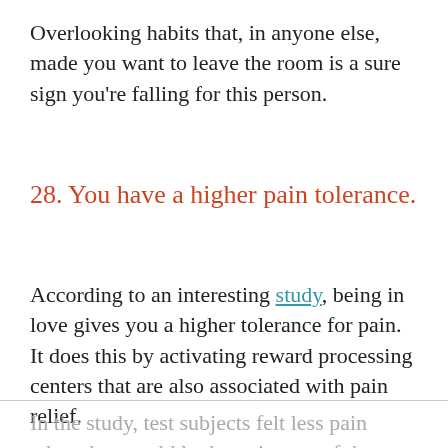Overlooking habits that, in anyone else, made you want to leave the room is a sure sign you're falling for this person.
28. You have a higher pain tolerance.
According to an interesting study, being in love gives you a higher tolerance for pain. It does this by activating reward processing centers that are also associated with pain relief.
In the study, test subjects felt less pain when they could look at pictures of the